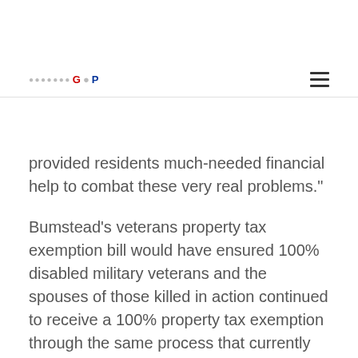GP
provided residents much-needed financial help to combat these very real problems."
Bumstead's veterans property tax exemption bill would have ensured 100% disabled military veterans and the spouses of those killed in action continued to receive a 100% property tax exemption through the same process that currently exists. It would have also set a $2,000 property tax cap for veterans who are more than 50% disabled but less than 100% disabled. The plan would also have held local governments harmless by requiring the state to reimburse them